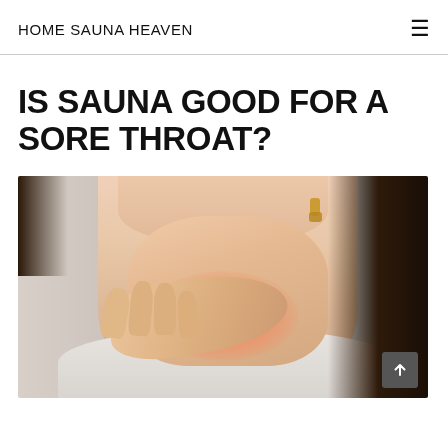HOME SAUNA HEAVEN
IS SAUNA GOOD FOR A SORE THROAT?
[Figure (photo): Woman touching her throat with her hand, throat area highlighted in red/pink indicating soreness, dark hair, wearing light-colored shirt, gold earring visible]